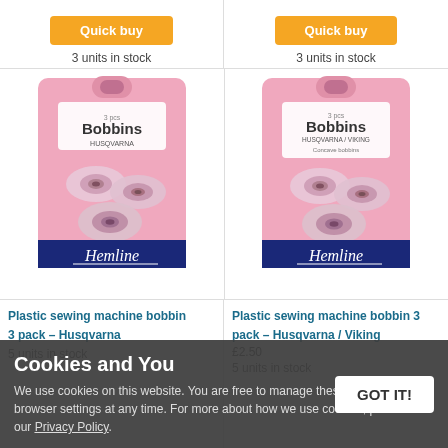Quick buy
Quick buy
3 units in stock
3 units in stock
[Figure (other): Star rating: 4.5 stars with (1) review]
[Figure (photo): Hemline Bobbins package - Husqvarna, 3 pcs, plastic sewing machine bobbins]
[Figure (photo): Hemline Bobbins package - Husqvarna Viking Concave bobbins, 3 pcs, plastic sewing machine bobbins]
Plastic sewing machine bobbin 3 pack – Husqvarna
Plastic sewing machine bobbin 3 pack – Husqvarna / Viking
£2.50
5 units in stock
5 units in stock
Cookies and You
We use cookies on this website. You are free to manage these via your browser settings at any time. For more about how we use cookies, please see our Privacy Policy.
GOT IT!